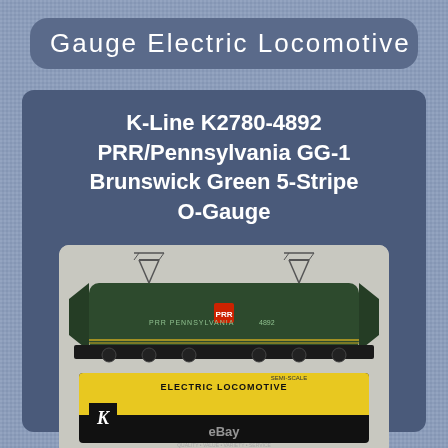Gauge Electric Locomotive
K-Line K2780-4892 PRR/Pennsylvania GG-1 Brunswick Green 5-Stripe O-Gauge
[Figure (photo): Photo of K-Line K2780-4892 PRR/Pennsylvania GG-1 Brunswick Green 5-Stripe O-Gauge electric locomotive model, shown above its yellow and black product box labeled ELECTRIC LOCOMOTIVE. The box has a K-Line logo and eBay watermark.]